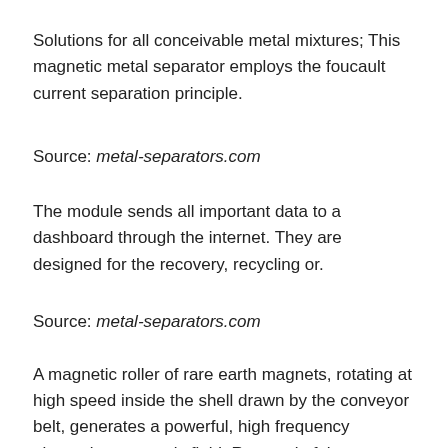Solutions for all conceivable metal mixtures; This magnetic metal separator employs the foucault current separation principle.
Source: metal-separators.com
The module sends all important data to a dashboard through the internet. They are designed for the recovery, recycling or.
Source: metal-separators.com
A magnetic roller of rare earth magnets, rotating at high speed inside the shell drawn by the conveyor belt, generates a powerful, high frequency alternating magnetic field. Removal of the metallics is selective and product loss is minimized